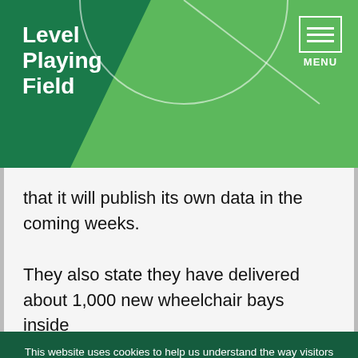Level Playing Field
that it will publish its own data in the coming weeks.

They also state they have delivered about 1,000 new wheelchair bays inside
This website uses cookies to help us understand the way visitors use our website. We can't identify you with them and we don't share the data with anyone else. Find out more in our privacy policy.
Accept cookies | Reject cookies